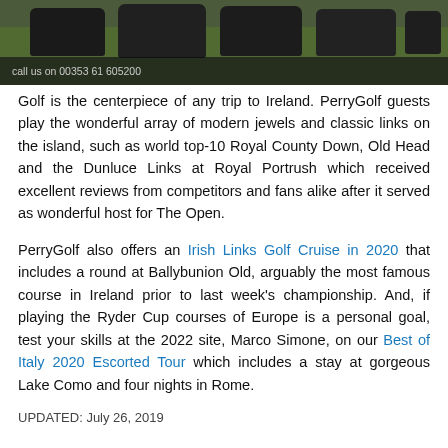[Figure (photo): Dark silhouettes of golf course mowing equipment (fairway mowers) on a green grass background. Overlaid text reads: call us on 00353 61 605200]
call us on 00353 61 605200
Golf is the centerpiece of any trip to Ireland. PerryGolf guests play the wonderful array of modern jewels and classic links on the island, such as world top-10 Royal County Down, Old Head and the Dunluce Links at Royal Portrush which received excellent reviews from competitors and fans alike after it served as wonderful host for The Open.
PerryGolf also offers an Irish Links Golf Cruise in 2020 that includes a round at Ballybunion Old, arguably the most famous course in Ireland prior to last week's championship. And, if playing the Ryder Cup courses of Europe is a personal goal, test your skills at the 2022 site, Marco Simone, on our Best of Italy 2020 Escorted Tour which includes a stay at gorgeous Lake Como and four nights in Rome.
UPDATED: July 26, 2019